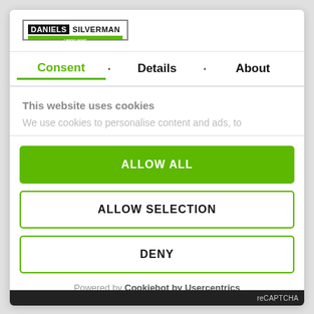[Figure (logo): Daniels Silverman logo with black background for 'DANIELS', white for 'SILVERMAN', and green bar below]
Consent • Details • About
This website uses cookies
We use cookies to personalise content and ads, to
ALLOW ALL
ALLOW SELECTION
DENY
Powered by Cookiebot by Usercentrics
reCAPTCHA